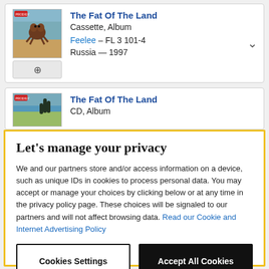[Figure (screenshot): Album listing entry 1: The Fat Of The Land - Cassette, Album. Feelee – FL 3 101-4. Russia — 1997. With album art thumbnail and zoom button.]
[Figure (screenshot): Album listing entry 2 (partial): The Fat Of The Land - CD, Album. With album art thumbnail.]
Let's manage your privacy
We and our partners store and/or access information on a device, such as unique IDs in cookies to process personal data. You may accept or manage your choices by clicking below or at any time in the privacy policy page. These choices will be signaled to our partners and will not affect browsing data. Read our Cookie and Internet Advertising Policy
Cookies Settings | Accept All Cookies